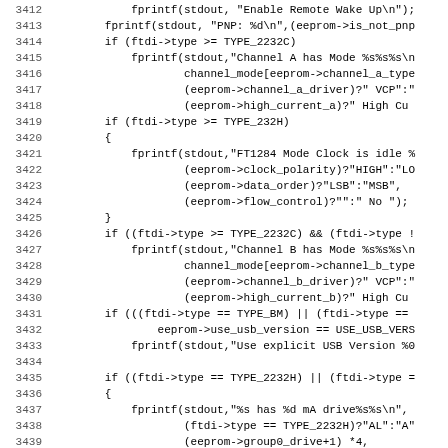[Figure (screenshot): Source code listing in monospace font showing C code lines 3412-3443 with line numbers on the left, featuring fprintf and if statements related to FTDI device EEPROM handling]